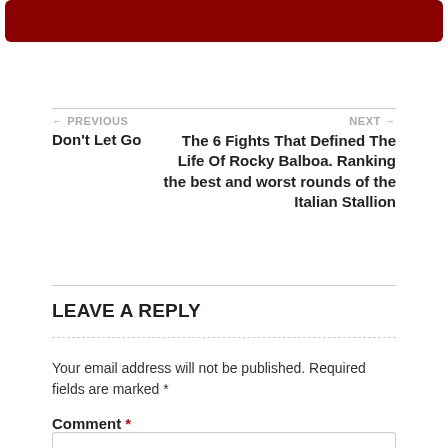[Figure (other): Dark red/maroon rounded rectangle bar at top of page]
← PREVIOUS
Don't Let Go
NEXT →
The 6 Fights That Defined The Life Of Rocky Balboa. Ranking the best and worst rounds of the Italian Stallion
LEAVE A REPLY
Your email address will not be published. Required fields are marked *
Comment *